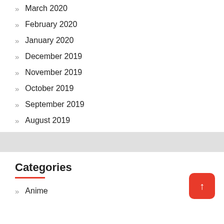March 2020
February 2020
January 2020
December 2019
November 2019
October 2019
September 2019
August 2019
Categories
Anime